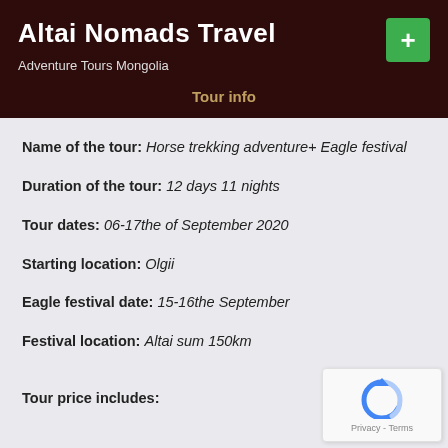Altai Nomads Travel
Adventure Tours Mongolia
Tour info
Name of the tour: Horse trekking adventure+ Eagle festival
Duration of the tour: 12 days 11 nights
Tour dates: 06-17the of September 2020
Starting location: Olgii
Eagle festival date: 15-16the September
Festival location: Altai sum 150km
Tour price includes:
[Figure (other): reCAPTCHA privacy widget with circular arrow icon and Privacy - Terms text]